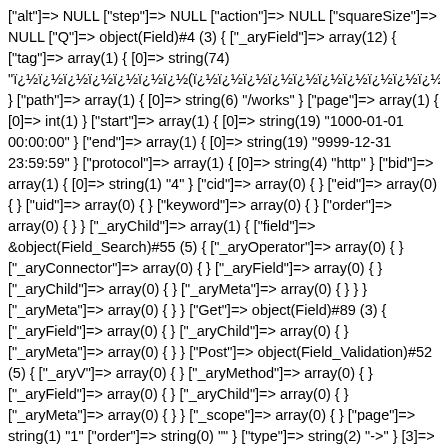["alt"]=> NULL ["step"]=> NULL ["action"]=> NULL ["squareSize"]=> NULL ["Q"]=> object(Field)#4 (3) { ["_aryField"]=> array(12) { ["tag"]=> array(1) { [0]=> string(74) "ï¿½ï¿½ï¿½ï¿½ï¿½ï¿½ï¿½(ï¿½ï¿½ï¿½ï¿½ï¿½ï¿½ï¿½ï¿½ï¿½ï¿½ï¿½ï¿½ï¿½ï¿½ï¿½ï¿½ï¿½ï } ["path"]=> array(1) { [0]=> string(6) "/works" } ["page"]=> array(1) { [0]=> int(1) } ["start"]=> array(1) { [0]=> string(19) "1000-01-01 00:00:00" } ["end"]=> array(1) { [0]=> string(19) "9999-12-31 23:59:59" } ["protocol"]=> array(1) { [0]=> string(4) "http" } ["bid"]=> array(1) { [0]=> string(1) "4" } ["cid"]=> array(0) { } ["eid"]=> array(0) { } ["uid"]=> array(0) { } ["keyword"]=> array(0) { } ["order"]=> array(0) { } } ["_aryChild"]=> array(1) { ["field"]=> &object(Field_Search)#55 (5) { ["_aryOperator"]=> array(0) { } ["_aryConnector"]=> array(0) { } ["_aryField"]=> array(0) { } ["_aryChild"]=> array(0) { } ["_aryMeta"]=> array(0) { } } } ["_aryMeta"]=> array(0) { } } ["Get"]=> object(Field)#89 (3) { ["_aryField"]=> array(0) { } ["_aryChild"]=> array(0) { } ["_aryMeta"]=> array(0) { } } ["Post"]=> object(Field_Validation)#52 (5) { ["_aryV"]=> array(0) { } ["_aryMethod"]=> array(0) { } ["_aryField"]=> array(0) { } ["_aryChild"]=> array(0) { } ["_aryMeta"]=> array(0) { } } ["_scope"]=> array(0) { } ["page"]=> string(1) "1" ["order"]=> string(0) "" } ["type"]=> string(2) "->" } [3]=> array(3) { ["file"]=> string(45) "/usr/home/xa136005/html/php/ACMS/function.php" ["line"]=> int(1385) ["function"]=> string(4) "boot" } [4]=> array(3) {